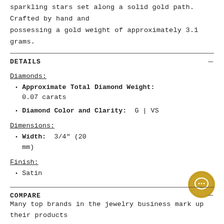sparkling stars set along a solid gold path. Crafted by hand and possessing a gold weight of approximately 3.1 grams.
DETAILS
Diamonds:
Approximate Total Diamond Weight: 0.07 carats
Diamond Color and Clarity: G | VS
Dimensions:
Width: 3/4" (20 mm)
Finish:
Satin
COMPARE
Many top brands in the jewelry business mark up their products